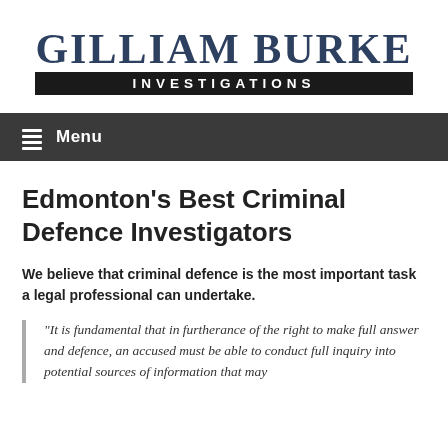[Figure (logo): Gilliam Burke Investigations logo — large serif text 'GILLIAM BURKE' in dark navy above a black bar with 'INVESTIGATIONS' in white spaced caps]
Menu
Edmonton's Best Criminal Defence Investigators
We believe that criminal defence is the most important task a legal professional can undertake.
“It is fundamental that in furtherance of the right to make full answer and defence, an accused must be able to conduct full inquiry into potential sources of information that may